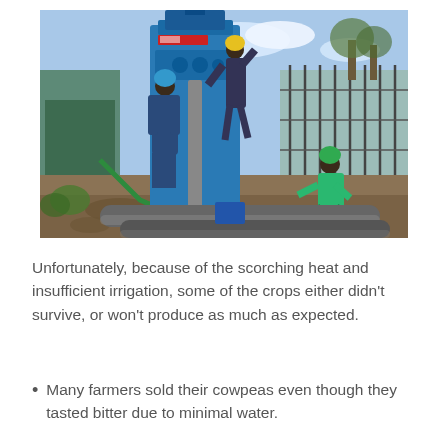[Figure (photo): Workers operating a blue water drilling rig at a construction site. Three workers visible — one in blue overalls with a blue hard hat, one climbing the rig in a yellow hard hat, and one in a teal shirt with a green hard hat crouching near large pipes on the ground. The site has rocky/muddy terrain with metal pipes. A metal fence and sparse trees are visible in the background under a blue sky.]
Unfortunately, because of the scorching heat and insufficient irrigation, some of the crops either didn't survive, or won't produce as much as expected.
Many farmers sold their cowpeas even though they tasted bitter due to minimal water.